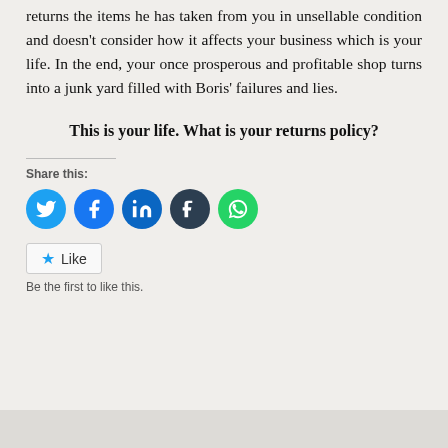returns the items he has taken from you in unsellable condition and doesn't consider how it affects your business which is your life. In the end, your once prosperous and profitable shop turns into a junk yard filled with Boris' failures and lies.
This is your life. What is your returns policy?
Share this:
[Figure (infographic): Five social media share icons: Twitter (blue), Facebook (blue), LinkedIn (dark blue), Tumblr (dark navy), WhatsApp (green)]
[Figure (infographic): Like button with star icon]
Be the first to like this.